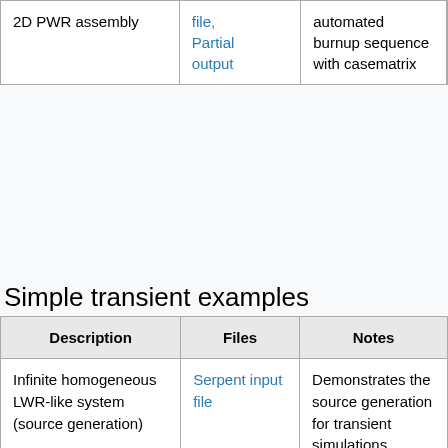| Description | Files | Notes | ... |
| --- | --- | --- | --- |
| 2D PWR assembly | file, Partial output | automated burnup sequence with casematrix | AP...VT... |
Simple transient examples
| Description | Files | Notes |
| --- | --- | --- |
| Infinite homogeneous LWR-like system (source generation) | Serpent input file | Demonstrates the source generation for transient simulations |
| Infinite homogeneous LWR-like | Serpent input file | Demonstrates the transient simulation |